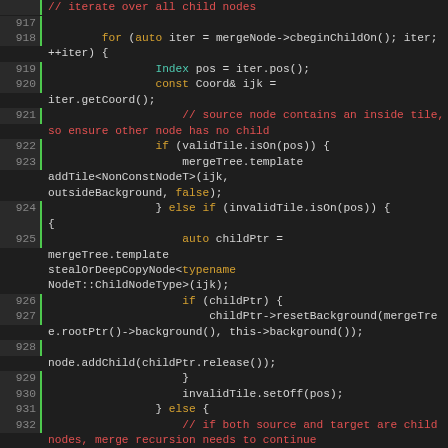[Figure (screenshot): Source code listing showing C++ code lines 917-935 with syntax highlighting on a dark background. Line numbers shown in left margin with green border. Keywords in orange/yellow, types in teal, comments in red, regular code in light gray.]